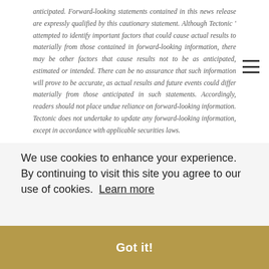anticipated. Forward-looking statements contained in this news release are expressly qualified by this cautionary statement. Although Tectonic ' attempted to identify important factors that could cause actual results to materially from those contained in forward-looking information, there may be other factors that cause results not to be as anticipated, estimated or intended. There can be no assurance that such information will prove to be accurate, as actual results and future events could differ materially from those anticipated in such statements. Accordingly, readers should not place undue reliance on forward-looking information. Tectonic does not undertake to update any forward-looking information, except in accordance with applicable securities laws.
(as ...pts
We use cookies to enhance your experience. By continuing to visit this site you agree to our use of cookies. Learn more
Got it!